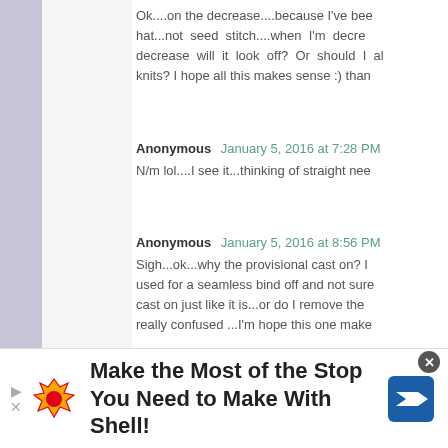Ok....on the decrease....because I've been making a stockinette hat...not seed stitch....when I'm decreasing, if I decrease will it look off? Or should I alternate the knits? I hope all this makes sense :) thank
Anonymous January 5, 2016 at 7:28 PM
N/m lol....I see it...thinking of straight need
Anonymous January 5, 2016 at 8:56 PM
Sigh...ok...why the provisional cast on? I used for a seamless bind off and not sure cast on just like it is...or do I remove the really confused ...I'm hope this one make
[Figure (other): Shell advertisement banner: 'Make the Most of the Stop You Need to Make With Shell!' with Shell logo and navigation arrow icon.]